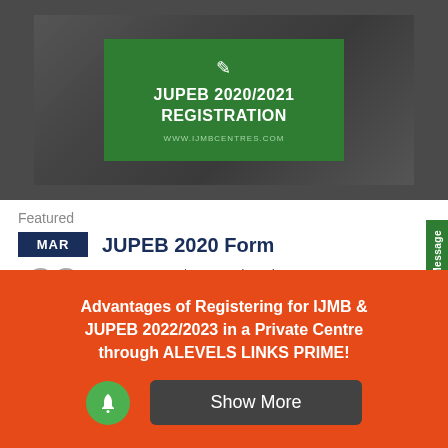[Figure (illustration): JUPEB 2020/2021 Registration promotional banner with dark background showing stationery and calculator, featuring a green card in the center with text 'JUPEB 2020/2021 REGISTRATION' and URL 'www.ijmbcentres.com']
Featured
JUPEB 2020 Form
JUPEB 2020/2021 registration to commence officially on the 20th of April, 2020 and resumption to commence
Advantages of Registering for IJMB & JUPEB 2022/2023 in a Private Centre through ALEVELS LINKS PRIME!
Show More